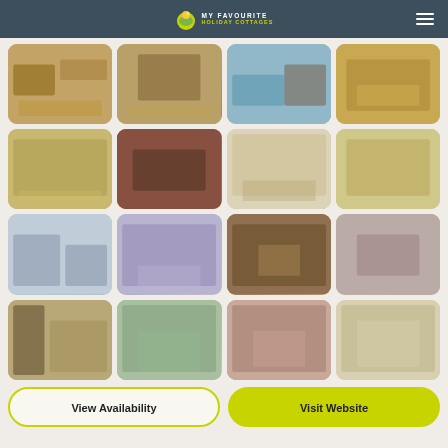MY FAVOURITE HOLIDAY COTTAGES
[Figure (photo): Grid of 16 interior holiday cottage room photos arranged in 4 columns and 4 rows, showing kitchens, living rooms, dining rooms, and bedrooms]
View Availability
Visit Website